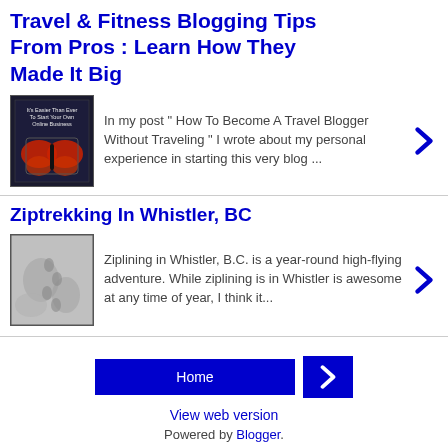Travel & Fitness Blogging Tips From Pros : Learn How They Made It Big
[Figure (illustration): Book cover: 'It's Easier Than Ever To Start Your Own Online Business' with butterfly graphic on dark background]
In my post " How To Become A Travel Blogger Without Traveling " I wrote about my personal experience in starting this very blog ...
Ziptrekking In Whistler, BC
[Figure (photo): Black and white photo of snow/footprints in Whistler]
Ziplining in Whistler, B.C. is a year-round high-flying adventure. While ziplining is in Whistler is awesome at any time of year, I think it...
Home | › | View web version | Powered by Blogger.